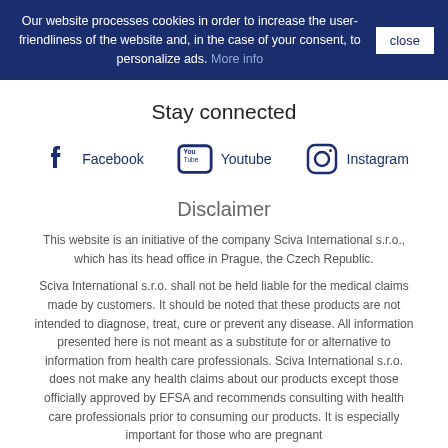Our website processes cookies in order to increase the user-friendliness of the website and, in the case of your consent, to personalize ads. More info
Stay connected
[Figure (illustration): Social media icons: Facebook (f logo), Youtube (YouTube play button logo), Instagram (camera logo) with their respective labels]
Disclaimer
This website is an initiative of the company Sciva International s.r.o., which has its head office in Prague, the Czech Republic.
Sciva International s.r.o. shall not be held liable for the medical claims made by customers. It should be noted that these products are not intended to diagnose, treat, cure or prevent any disease. All information presented here is not meant as a substitute for or alternative to information from health care professionals. Sciva International s.r.o. does not make any health claims about our products except those officially approved by EFSA and recommends consulting with health care professionals prior to consuming our products. It is especially important for those who are pregnant